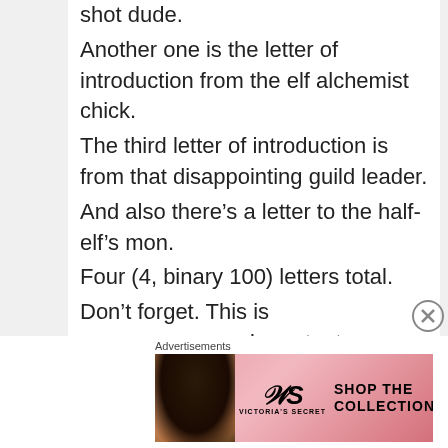shot dude.
Another one is the letter of introduction from the elf alchemist chick.
The third letter of introduction is from that disappointing guild leader.
And also there's a letter to the half-elf's mon.
Four (4, binary 100) letters total.
Don't forget. This is veeeeeeeeeeery important.
Just like the recipe of miso soup and the difference between pig and boar meat.
□□□□□□□□□□□□□□hand-paper. Letter.
[Figure (other): Victoria's Secret advertisement banner with model, VS logo, 'SHOP THE COLLECTION' text, and 'SHOP NOW' button]